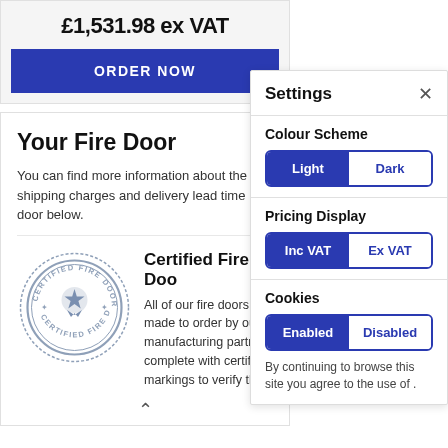£1,531.98 ex VAT
ORDER NOW
Your Fire Door
You can find more information about the shipping charges and delivery lead time door below.
[Figure (illustration): Certified Fire Doors circular stamp/badge in grey with a star/ribbon award icon in the center and text around the perimeter reading CERTIFIED FIRE DOORS]
Certified Fire Doo
All of our fire doors a made to order by our manufacturing partne complete with certific markings to verify the
Settings
Colour Scheme
Light | Dark
Pricing Display
Inc VAT | Ex VAT
Cookies
Enabled | Disabled
By continuing to browse this site you agree to the use of .